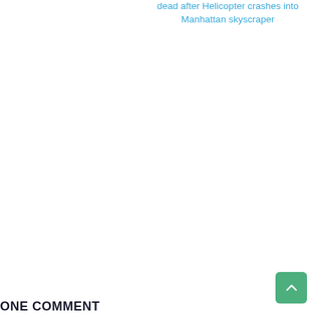dead after Helicopter crashes into Manhattan skyscraper
ONE COMMENT